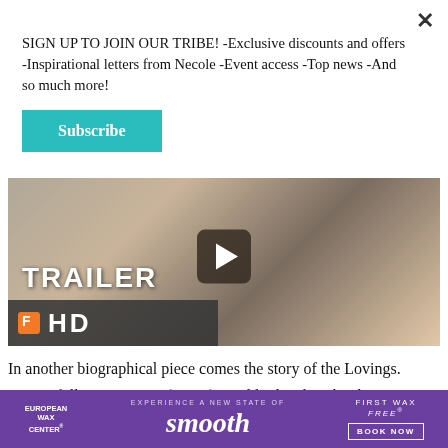SIGN UP TO JOIN OUR TRIBE! -Exclusive discounts and offers -Inspirational letters from Necole -Event access -Top news -And so much more!
Subscribe
[Figure (screenshot): Video thumbnail showing two people kissing, with TRAILER text overlay, Fandango HD logo bar at bottom, and a play button in the center]
In another biographical piece comes the story of the Lovings. Loving follows interracial couple, Mildred and Richard Loving, as they navigate being in love
[Figure (infographic): European Wax Center advertisement banner: purple background with 'EXPERIENCE A NEW STATE OF smooth' and 'FIRST WAX free BOOK NOW' on right]